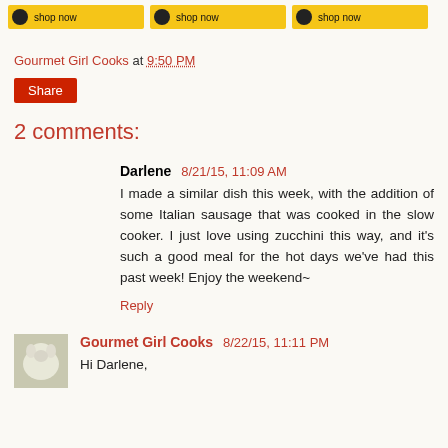[Figure (screenshot): Three Amazon-style yellow buttons with shopping cart icons at top of page]
Gourmet Girl Cooks at 9:50 PM
Share
2 comments:
Darlene 8/21/15, 11:09 AM
I made a similar dish this week, with the addition of some Italian sausage that was cooked in the slow cooker. I just love using zucchini this way, and it's such a good meal for the hot days we've had this past week! Enjoy the weekend~
Reply
Gourmet Girl Cooks 8/22/15, 11:11 PM
Hi Darlene,